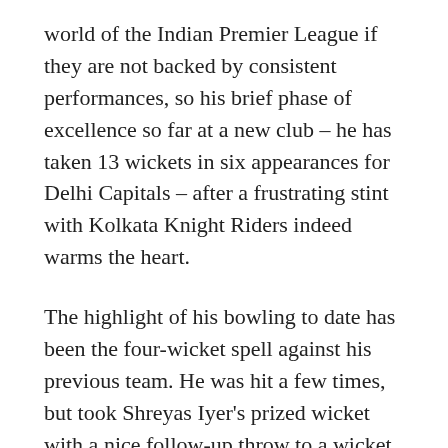world of the Indian Premier League if they are not backed by consistent performances, so his brief phase of excellence so far at a new club – he has taken 13 wickets in six appearances for Delhi Capitals – after a frustrating stint with Kolkata Knight Riders indeed warms the heart.
The highlight of his bowling to date has been the four-wicket spell against his previous team. He was hit a few times, but took Shreyas Iyer's prized wicket with a nice follow-up throw to a wicket that had been hit with a disdainful blow to a six. In his last over, he took three more to further cripple the Knight Riders' pursuit – Pat Cummins was stuck lbw with a quick delivery that was thrown completely onto a leg stump line, Sunil Narine was caught deep in extra cover as he tried to hit out, and Umesh Yadav tried